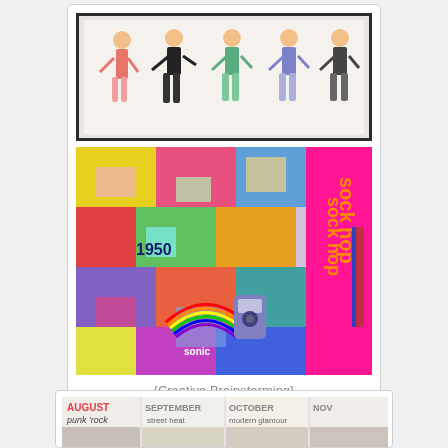[Figure (photo): A framed illustration showing fashion figure sketches of women in colorful outfits, displayed above a colorful collage board with 'sock hop' text on a pink side panel, and a ribbon/bookmark beside it. The collage contains various pop culture images, text snippets including '1950s', and vibrant colors.]
{Creative Brainstorming}
[Figure (photo): Partially visible calendar or mood board spread showing monthly tabs labeled AUGUST (punk rock), SEPTEMBER (street heat), OCTOBER (something), NOV (partially visible), with fashion illustrations beneath each month.]